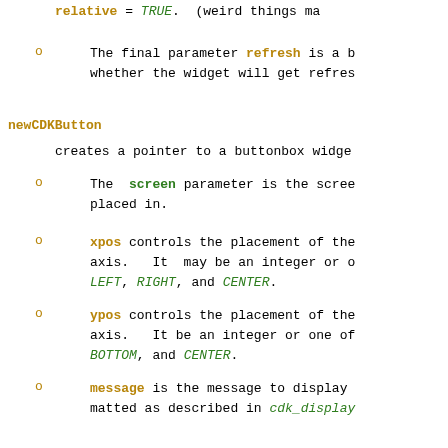relative = TRUE.  (weird things ma
The final parameter refresh is a b whether the widget will get refres
newCDKButton
creates a pointer to a buttonbox widge
The screen parameter is the scree placed in.
xpos controls the placement of the axis.  It may be an integer or c LEFT, RIGHT, and CENTER.
ypos controls the placement of the axis.  It be an integer or one of BOTTOM, and CENTER.
message is the message to display matted as described in cdk_display
callback is an optional pointer will be executed when the user act ing space or enter.
box is true if the widget shoul it.